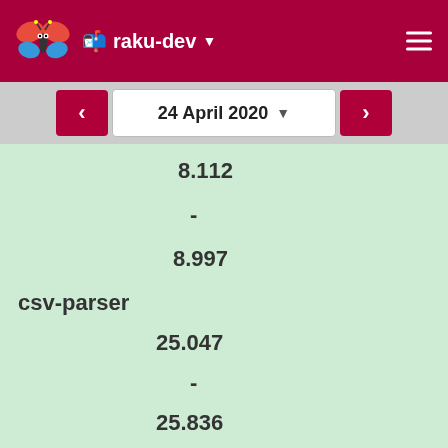raku-dev
24 April 2020
8.112
-
8.997
csv-parser
25.047
-
25.836
csv-test-xs-20